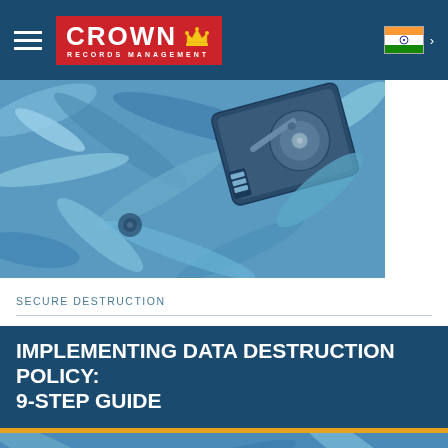[Figure (logo): Crown Records Management logo with red background, white CROWN text, gold crown icon, and RECORDS MANAGEMENT subtitle. Navigation bar with hamburger menu on left and Indian flag with chevron on right, on dark blue background.]
[Figure (photo): Photo of shredded metallic debris with a hard disk drive visible among the crushed metal pieces, in blue toned color.]
SECURE DESTRUCTION
IMPLEMENTING DATA DESTRUCTION POLICY: 9-STEP GUIDE
[Figure (photo): Bottom cropped photo of shredded metallic debris similar to the top hero image, blue toned.]